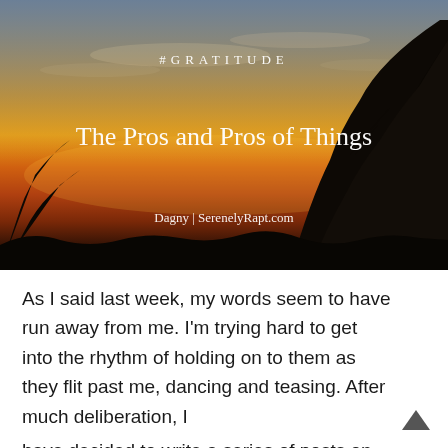[Figure (photo): Sunset landscape photo with silhouetted trees against an orange and gold sky. Text '#GRATITUDE' at top center, title 'The Pros and Pros of Things' in the middle, and 'Dagny | SerenelyRapt.com' at the bottom.]
As I said last week, my words seem to have run away from me. I'm trying hard to get into the rhythm of holding on to them as they flit past me, dancing and teasing. After much deliberation, I have decided to write a series of posts on